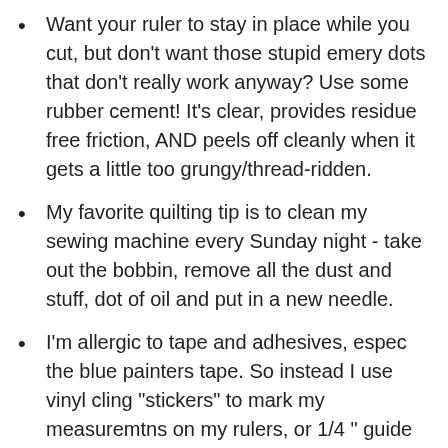Want your ruler to stay in place while you cut, but don't want those stupid emery dots that don't really work anyway? Use some rubber cement! It's clear, provides residue free friction, AND peels off cleanly when it gets a little too grungy/thread-ridden.
My favorite quilting tip is to clean my sewing machine every Sunday night - take out the bobbin, remove all the dust and stuff, dot of oil and put in a new needle.
I'm allergic to tape and adhesives, espec the blue painters tape. So instead I use vinyl cling "stickers" to mark my measuremtns on my rulers, or 1/4 " guide on my sewing machine. They have no adhesive. You know the type, you get them in your upper left corner of your windshield of your car when you get an oil change, or sometimes nonprofits send them to you during the annual fundraising drive. The one I use on my machine to guide my 1/4" is from a Cuisinart pan I